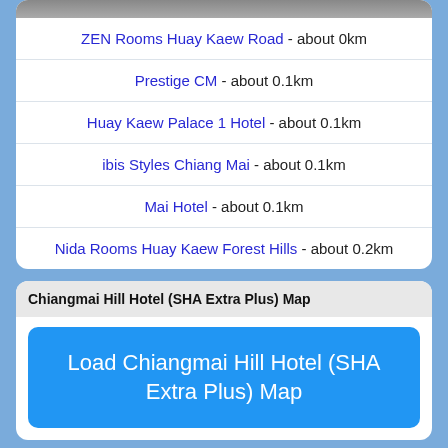[Figure (photo): Top image strip of a hotel or location photo, partially visible]
ZEN Rooms Huay Kaew Road - about 0km
Prestige CM - about 0.1km
Huay Kaew Palace 1 Hotel - about 0.1km
ibis Styles Chiang Mai - about 0.1km
Mai Hotel - about 0.1km
Nida Rooms Huay Kaew Forest Hills - about 0.2km
Chiangmai Hill Hotel (SHA Extra Plus) Map
Load Chiangmai Hill Hotel (SHA Extra Plus) Map